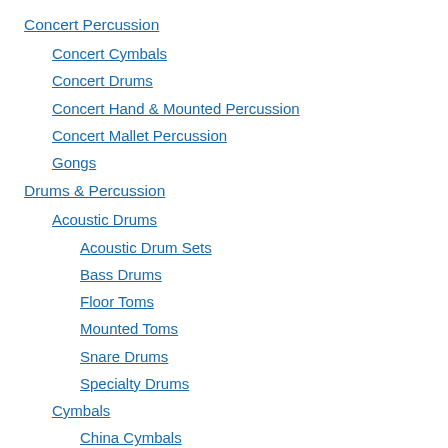Concert Percussion
Concert Cymbals
Concert Drums
Concert Hand & Mounted Percussion
Concert Mallet Percussion
Gongs
Drums & Percussion
Acoustic Drums
Acoustic Drum Sets
Bass Drums
Floor Toms
Mounted Toms
Snare Drums
Specialty Drums
Cymbals
China Cymbals
Crash Cymbals
Cymbal Packs
Effect Cymbals